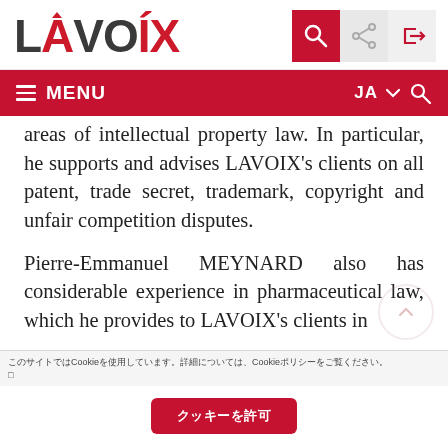LAVOIX
≡ MENU   JA ▾ 🔍
areas of intellectual property law. In particular, he supports and advises LAVOIX's clients on all patent, trade secret, trademark, copyright and unfair competition disputes.
Pierre-Emmanuel MEYNARD also has considerable experience in pharmaceutical law, which he provides to LAVOIX's clients in
このサイトではCookieを使用しています。詳細はCookieポリシーをご覧ください。